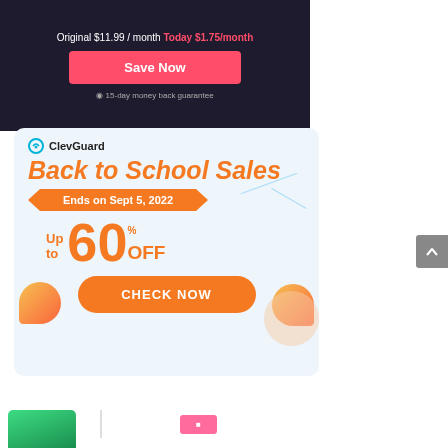[Figure (screenshot): Dark navy pricing banner showing 'Original $11.99/month Today $1.75/month', a red 'Save Now' button, and '15-day money back guarantee' text]
[Figure (infographic): ClevGuard Back to School Sales advertisement with light blue background. Shows ClevGuard logo, 'Back to School Sales' headline in orange italic, 'Ends on Sept 5, 2022' ribbon, 'Up to 60% OFF' discount text, and 'CHECK NOW' orange button]
[Figure (screenshot): Partial bottom area showing green and pink/red colored elements, partially cut off at bottom of page]